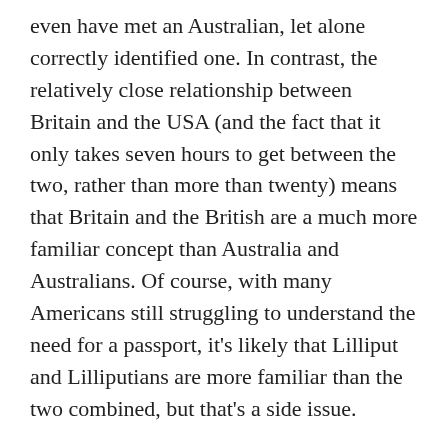even have met an Australian, let alone correctly identified one. In contrast, the relatively close relationship between Britain and the USA (and the fact that it only takes seven hours to get between the two, rather than more than twenty) means that Britain and the British are a much more familiar concept than Australia and Australians. Of course, with many Americans still struggling to understand the need for a passport, it's likely that Lilliput and Lilliputians are more familiar than the two combined, but that's a side issue.
Incidentally, I've been also been identified as Irish, German and Scandinavian as well since arriving in the States. It's a source of undeniable pleasure that nobody's [accused me of being]called me an American yet. It's only a matter of time.
As I cooked dinner tonight, The Special One and The Young Ones sat down to watch the X Men movie. Having seen an interview with the cast half way through, The Youngest excitedly bound into the kitchen to say that she had no idea